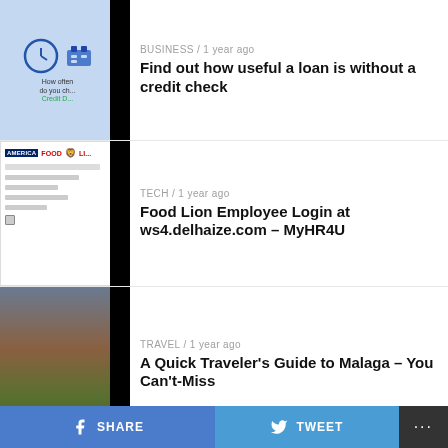BUSINESS / 1 year ago
Find out how useful a loan is without a credit check
[Figure (illustration): Thumbnail image showing a person at a desk with a clock and text about credit check]
TECH / 1 year ago
Food Lion Employee Login at ws4.delhaize.com – MyHR4U
[Figure (screenshot): Thumbnail showing Food Lion / America branding with a form]
TRAVEL / 1 year ago
A Quick Traveler's Guide to Malaga – You Can't-Miss
[Figure (photo): Landscape travel photo of Malaga with scenic view and italic M watermark]
INTERNATIONAL / 1 year ago
Hemp Designs And Fashions – Is Hemp Fashion Really Fashion?
INTERNATIONAL / 1 year ago
Joint Alleviation Using Affordable Exercise Equipment